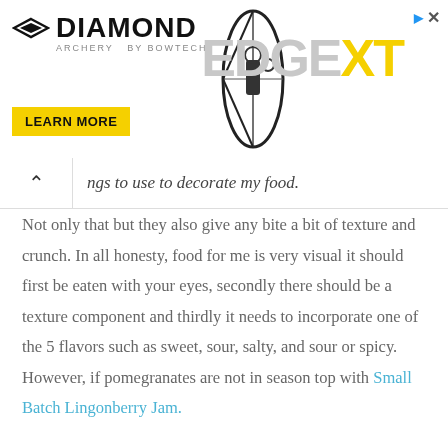[Figure (other): Diamond Archery advertisement banner featuring the Diamond Archery logo, EDGEXT text in gray and yellow, a bow image, and a yellow LEARN MORE button. Includes close (X) button and navigation arrow icon top right.]
ngs to use to decorate my food.
Not only that but they also give any bite a bit of texture and crunch. In all honesty, food for me is very visual it should first be eaten with your eyes, secondly there should be a texture component and thirdly it needs to incorporate one of the 5 flavors such as sweet, sour, salty, and sour or spicy. However, if pomegranates are not in season top with Small Batch Lingonberry Jam.
SMOKEY POMEGRANATE CHICKEN ROULADE NOTES